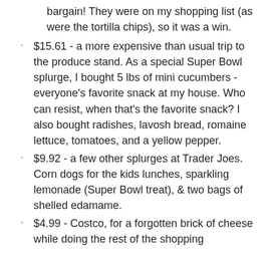bargain! They were on my shopping list (as were the tortilla chips), so it was a win.
$15.61 - a more expensive than usual trip to the produce stand. As a special Super Bowl splurge, I bought 5 lbs of mini cucumbers - everyone's favorite snack at my house. Who can resist, when that's the favorite snack? I also bought radishes, lavosh bread, romaine lettuce, tomatoes, and a yellow pepper.
$9.92 - a few other splurges at Trader Joes. Corn dogs for the kids lunches, sparkling lemonade (Super Bowl treat), & two bags of shelled edamame.
$4.99 - Costco, for a forgotten brick of cheese while doing the rest of the shopping